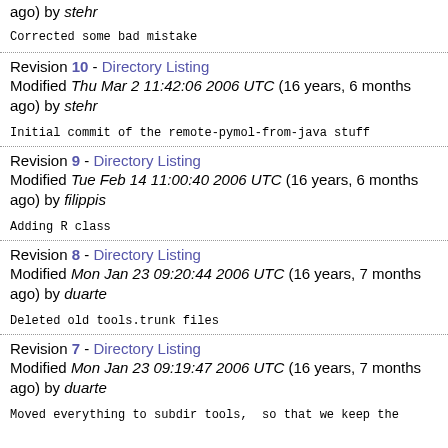ago) by stehr
Corrected some bad mistake
Revision 10 - Directory Listing
Modified Thu Mar 2 11:42:06 2006 UTC (16 years, 6 months ago) by stehr
Initial commit of the remote-pymol-from-java stuff
Revision 9 - Directory Listing
Modified Tue Feb 14 11:00:40 2006 UTC (16 years, 6 months ago) by filippis
Adding R class
Revision 8 - Directory Listing
Modified Mon Jan 23 09:20:44 2006 UTC (16 years, 7 months ago) by duarte
Deleted old tools.trunk files
Revision 7 - Directory Listing
Modified Mon Jan 23 09:19:47 2006 UTC (16 years, 7 months ago) by duarte
Moved everything to subdir tools, so that we keep the